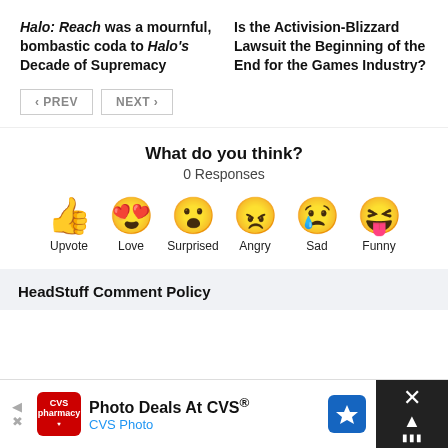Halo: Reach was a mournful, bombastic coda to Halo's Decade of Supremacy
Is the Activision-Blizzard Lawsuit the Beginning of the End for the Games Industry?
< PREV
NEXT >
What do you think?
0 Responses
[Figure (infographic): Six emoji reaction buttons: thumbs up (Upvote), heart eyes (Love), surprised face (Surprised), angry crying face (Angry), sad crying face (Sad), laughing tongue face (Funny)]
HeadStuff Comment Policy
[Figure (infographic): CVS Pharmacy advertisement banner at the bottom: 'Photo Deals At CVS®' with CVS Photo subtext, blue navigation arrow icon, and black close/up button area on right]